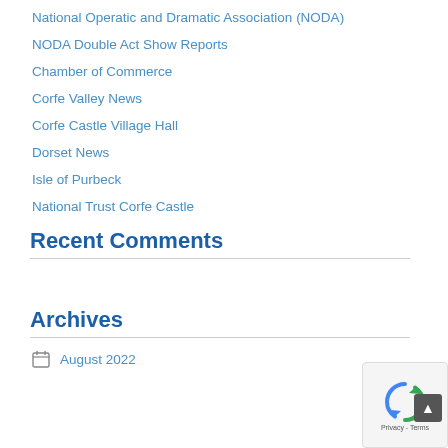National Operatic and Dramatic Association (NODA)
NODA Double Act Show Reports
Chamber of Commerce
Corfe Valley News
Corfe Castle Village Hall
Dorset News
Isle of Purbeck
National Trust Corfe Castle
Recent Comments
Archives
August 2022